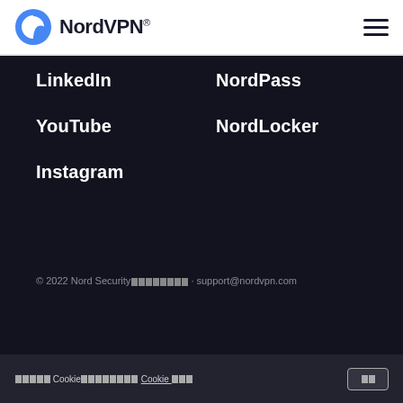NordVPN
LinkedIn
NordPass
YouTube
NordLocker
Instagram
[Figure (other): Language selector with flag icons and dropdown arrow]
© 2022 Nord Security [redacted] · support@nordvpn.com
[redacted] Cookie [redacted] Cookie [redacted]  [redacted button]